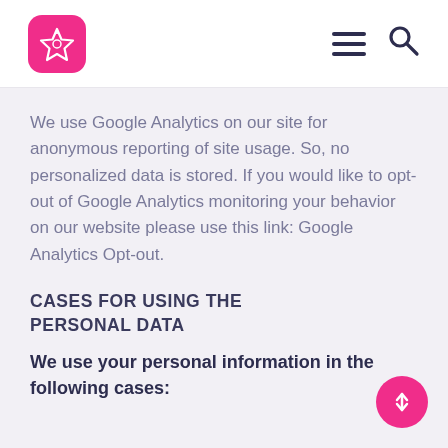Logo and navigation bar with hamburger menu and search icon
We use Google Analytics on our site for anonymous reporting of site usage. So, no personalized data is stored. If you would like to opt-out of Google Analytics monitoring your behavior on our website please use this link: Google Analytics Opt-out.
CASES FOR USING THE PERSONAL DATA
We use your personal information in the following cases: